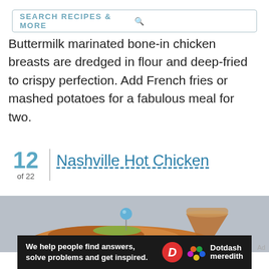SEARCH RECIPES & MORE
Buttermilk marinated bone-in chicken breasts are dredged in flour and deep-fried to crispy perfection. Add French fries or mashed potatoes for a fabulous meal for two.
12 of 22 | Nashville Hot Chicken
[Figure (photo): Nashville Hot Chicken dish with a blue cocktail pin and pickle garnish, served alongside a golden cocktail drink in a coupe glass]
Ad
We help people find answers, solve problems and get inspired. Dotdash meredith